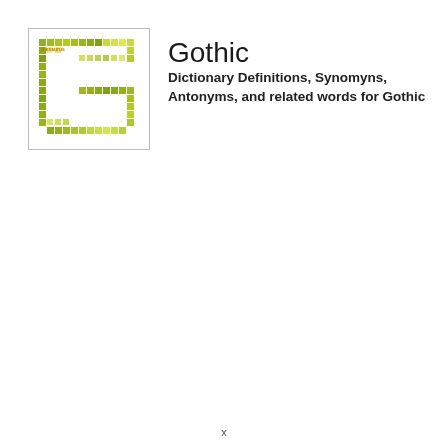[Figure (logo): Square logo with pixelated/mosaic green letter G pattern on white background with small orange text 'thesaurus' visible, bordered by a thin gray rectangle]
Gothic
Dictionary Definitions, Synomyns, Antonyms, and related words for Gothic
x